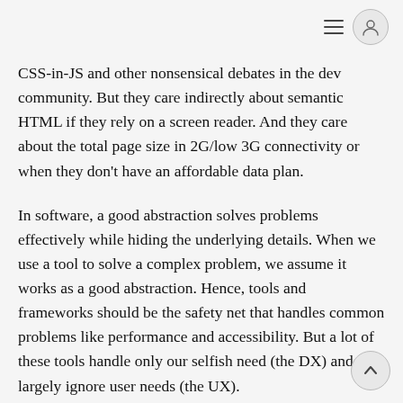[navigation icons: hamburger menu, user account]
CSS-in-JS and other nonsensical debates in the dev community. But they care indirectly about semantic HTML if they rely on a screen reader. And they care about the total page size in 2G/low 3G connectivity or when they don't have an affordable data plan.
In software, a good abstraction solves problems effectively while hiding the underlying details. When we use a tool to solve a complex problem, we assume it works as a good abstraction. Hence, tools and frameworks should be the safety net that handles common problems like performance and accessibility. But a lot of these tools handle only our selfish needs (the DX) and largely ignore user needs (the UX).